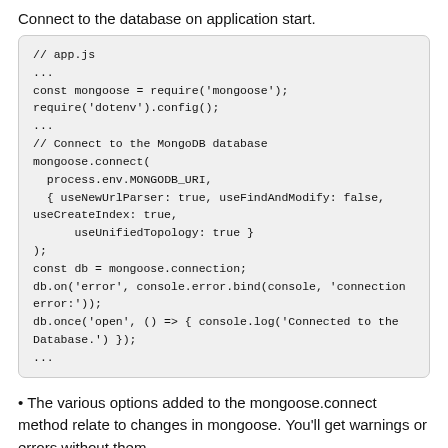Connect to the database on application start.
[Figure (screenshot): Code block showing JavaScript app.js file with mongoose connection setup including require statements, mongoose.connect with options, db.on error handler, db.once open handler, and ellipsis placeholders.]
The various options added to the mongoose.connect method relate to changes in mongoose. You'll get warnings or errors without them.
We're logging messages to the terminal console on database